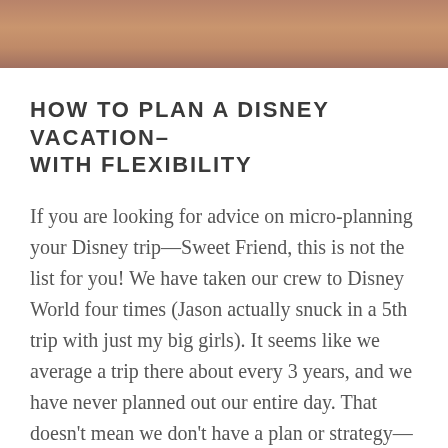[Figure (photo): Partial close-up photo at the top of the page showing a warm-toned skin or sandy texture, cropped at the bottom.]
HOW TO PLAN A DISNEY VACATION– WITH FLEXIBILITY
If you are looking for advice on micro-planning your Disney trip—Sweet Friend, this is not the list for you! We have taken our crew to Disney World four times (Jason actually snuck in a 5th trip with just my big girls). It seems like we average a trip there about every 3 years, and we have never planned out our entire day. That doesn't mean we don't have a plan or strategy—but we leave a lot of